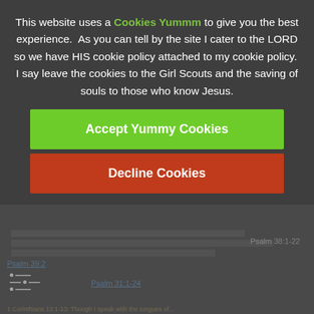This website uses a Cookies Yummm to give you the best experience.  As you can tell by the site I cater to the LORD so we have HIS cookie policy attached to my cookie policy.  I say leave the cookies to the Girl Scouts and the saving of souls to those who know Jesus.
Accept Yummy Cookies
Decline Cookies
Psalm 38:1-22
Psalm 39:2
Psalm 31:1-24
1 Corinthians 13:1-13: Though I speak with the tongues of...